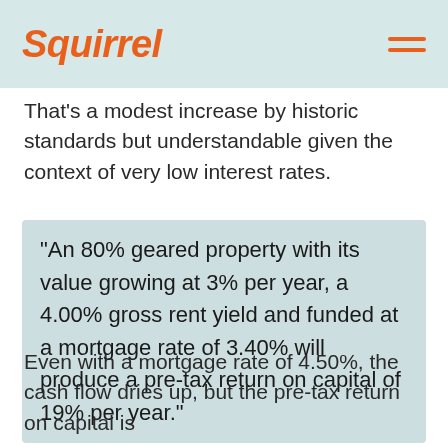Squirrel
That's a modest increase by historic standards but understandable given the context of very low interest rates.
“An 80% geared property with its value growing at 3% per year, a 4.00% gross rent yield and funded at a mortgage rate of 3.40% will produce a pre-tax return on capital of 19% per year.”
Even with a mortgage rate of 4.50%, the cash flow dries up, but the pre-tax return on capital is